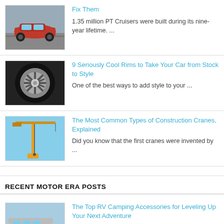[Figure (photo): Red car driving on a road (PT Cruiser)]
Fix Them
1.35 million PT Cruisers were built during its nine-year lifetime. ...
[Figure (photo): Close-up of a stylish chrome car rim/wheel]
9 Seriously Cool Rims to Take Your Car from Stock to Style
One of the best ways to add style to your ...
[Figure (photo): Construction crane against a blue sky]
The Most Common Types of Construction Cranes, Explained
Did you know that the first cranes were invented by ...
RECENT MOTOR ERA POSTS
[Figure (photo): RV / camper parked outdoors]
The Top RV Camping Accessories for Leveling Up Your Next Adventure